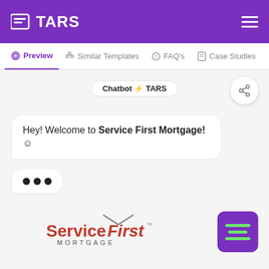[Figure (screenshot): TARS chatbot platform header with purple background, TARS logo on left and hamburger menu on right]
Preview | Similar Templates | FAQ's | Case Studies
Chatbot ⚡ TARS
Hey! Welcome to Service First Mortgage! 😊
[Figure (screenshot): Typing indicator with three dots showing bot is typing]
[Figure (logo): ServiceFirst Mortgage logo in red and gray]
[Figure (logo): TARS icon in bottom right corner, purple square with green lines]